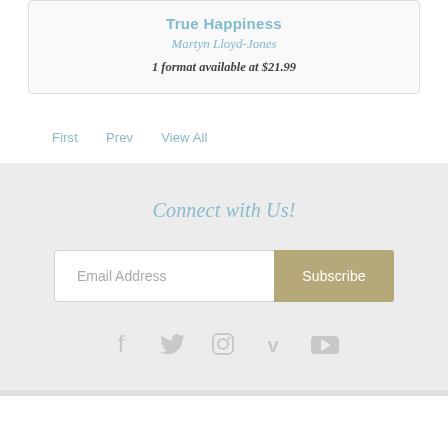True Happiness
Martyn Lloyd-Jones
1 format available at $21.99
First   Prev   View All
Connect with Us!
Email Address
Subscribe
[Figure (other): Social media icons: Facebook, Twitter, Instagram, Vimeo, YouTube]